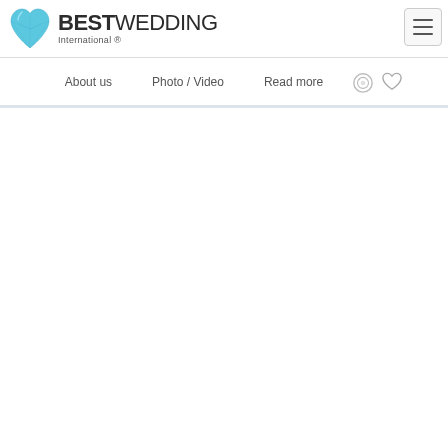[Figure (logo): BESTWEDDING International logo with a blue gem/crystal heart shape on the left, bold text BESTWEDDING with International ® below]
[Figure (other): Hamburger menu button (three horizontal bars) in a rounded rectangle]
About us   Photo / Video   Read more